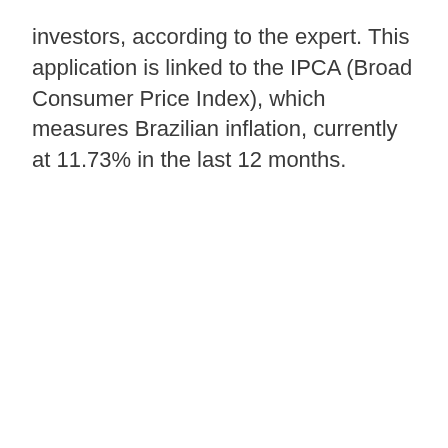investors, according to the expert. This application is linked to the IPCA (Broad Consumer Price Index), which measures Brazilian inflation, currently at 11.73% in the last 12 months.